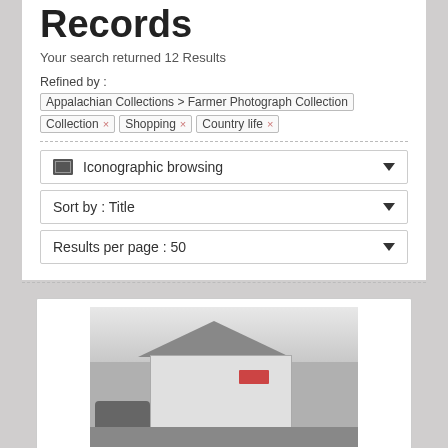Records
Your search returned 12 Results
Refined by : Appalachian Collections > Farmer Photograph Collection × Shopping × Country life ×
Iconographic browsing
Sort by : Title
Results per page : 50
[Figure (photo): Black and white photograph of a small white rural store/shop building with a gabled roof, a vintage car parked to the left, trees in background, and a Coca-Cola sign on the building.]